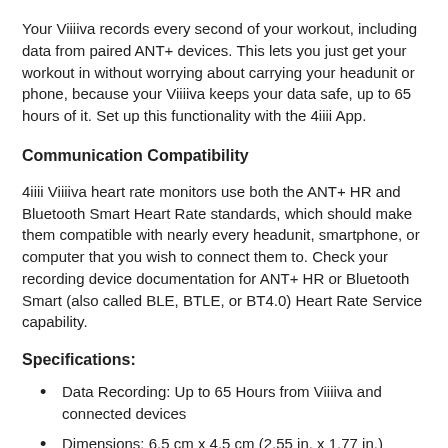Your Viiiiva records every second of your workout, including data from paired ANT+ devices. This lets you just get your workout in without worrying about carrying your headunit or phone, because your Viiiiva keeps your data safe, up to 65 hours of it. Set up this functionality with the 4iiii App.
Communication Compatibility
4iiii Viiiiva heart rate monitors use both the ANT+ HR and Bluetooth Smart Heart Rate standards, which should make them compatible with nearly every headunit, smartphone, or computer that you wish to connect them to. Check your recording device documentation for ANT+ HR or Bluetooth Smart (also called BLE, BTLE, or BT4.0) Heart Rate Service capability.
Specifications:
Data Recording: Up to 65 Hours from Viiiiva and connected devices
Dimensions: 6.5 cm x 4.5 cm (2.55 in. x 1.77 in.)
Strap Length: 57-132 cm (23-52 in.)